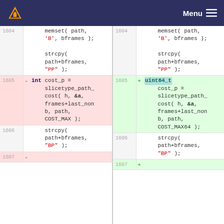VLC media player diff viewer - Menu
[Figure (screenshot): Side-by-side code diff showing lines 1604-1607. Left (deleted) side shows int cost_p = slicetype_path_cost(..., COST_MAX). Right (added) side shows uint64_t cost_p = slicetype_path_cost(..., COST_MAX64). Both sides show memset/strcpy code around the changed line.]